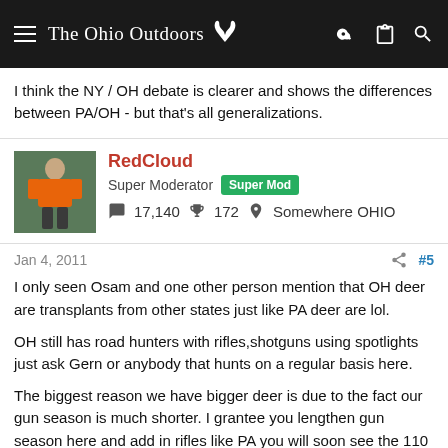The Ohio Outdoors
I think the NY / OH debate is clearer and shows the differences between PA/OH - but that's all generalizations.
RedCloud
Super Moderator Super Mod
17,140  172  Somewhere OHIO
Jan 4, 2011  #5
I only seen Osam and one other person mention that OH deer are transplants from other states just like PA deer are lol.
OH still has road hunters with rifles,shotguns using spotlights just ask Gern or anybody that hunts on a regular basis here.
The biggest reason we have bigger deer is due to the fact our gun season is much shorter. I grantee you lengthen gun season here and add in rifles like PA you will soon see the 110 - 120" "Trophy" bucks that PA and MI do.